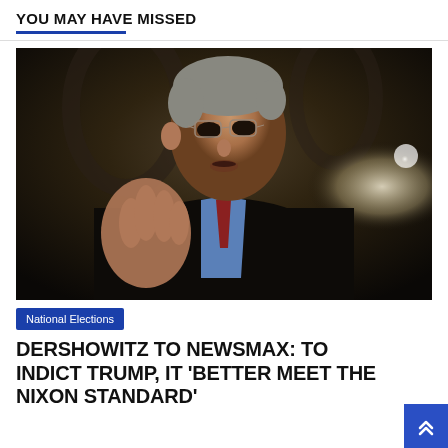YOU MAY HAVE MISSED
[Figure (photo): Close-up photo of an older man with glasses, gray hair, wearing a dark suit with a blue shirt and red tie, gesturing with his right hand, photographed indoors in a dark setting.]
National Elections
DERSHOWITZ TO NEWSMAX: TO INDICT TRUMP, IT 'BETTER MEET THE NIXON STANDARD'